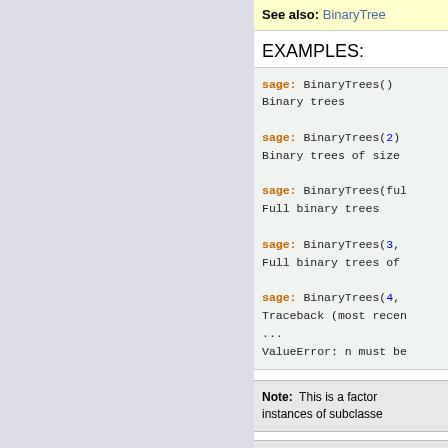See also: BinaryTree
EXAMPLES:
sage: BinaryTrees()
Binary trees

sage: BinaryTrees(2)
Binary trees of size

sage: BinaryTrees(full)
Full binary trees

sage: BinaryTrees(3,
Full binary trees of

sage: BinaryTrees(4,
Traceback (most recen
...
ValueError: n must be
Note: This is a factor instances of subclasse
Note: The fact that B